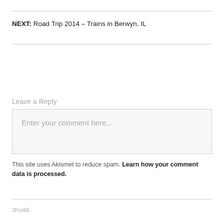NEXT: Road Trip 2014 – Trains in Berwyn, IL
Leave a Reply
Enter your comment here...
This site uses Akismet to reduce spam. Learn how your comment data is processed.
2For66